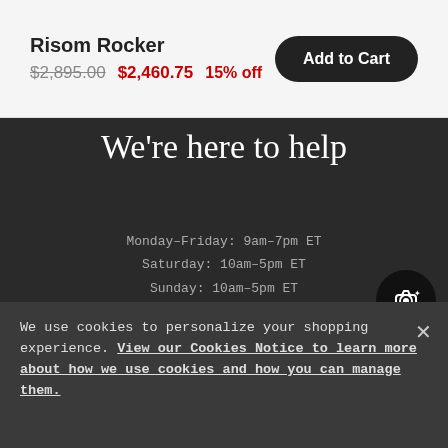Risom Rocker
$2,895.00  $2,460.75  15% off
Add to Cart
We're here to help
Monday–Friday: 9am–7pm ET
Saturday: 10am–5pm ET
Sunday: 10am–5pm ET
Contact Us
Product Care
Design Services
Shipping – Returns
We use cookies to personalize your shopping experience. View our Cookies Notice to learn more about how we use cookies and how you can manage them.